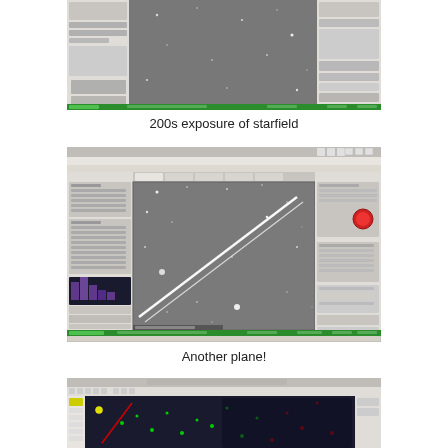[Figure (screenshot): Astronomy imaging software screenshot showing a dark starfield image (200s exposure), with software panels on left and right sides, and a green status bar at the bottom.]
200s exposure of starfield
[Figure (screenshot): Astronomy imaging software screenshot showing a dark starfield with a bright diagonal streak of a plane crossing the image from lower-left to upper-right, software panels on left and right, green status bar at bottom, red indicator circle on right panel.]
Another plane!
[Figure (screenshot): Astronomy software screenshot showing a star chart or planetarium view with colored star markers (green and red dots) on a dark background, with toolbar at top.]